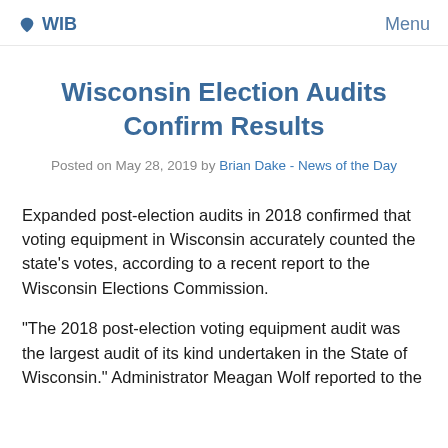WIB   Menu
Wisconsin Election Audits Confirm Results
Posted on May 28, 2019 by Brian Dake - News of the Day
Expanded post-election audits in 2018 confirmed that voting equipment in Wisconsin accurately counted the state’s votes, according to a recent report to the Wisconsin Elections Commission.
“The 2018 post-election voting equipment audit was the largest audit of its kind undertaken in the State of Wisconsin.” Administrator Meagan Wolf reported to the